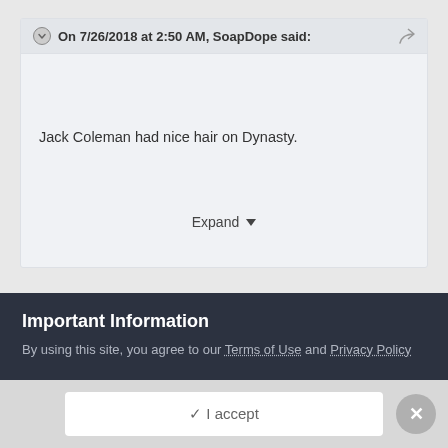On 7/26/2018 at 2:50 AM, SoapDope said:
Jack Coleman had nice hair on Dynasty.
Expand
+1 Forgot about him. He was so
Important Information
By using this site, you agree to our Terms of Use and Privacy Policy
✓ I accept